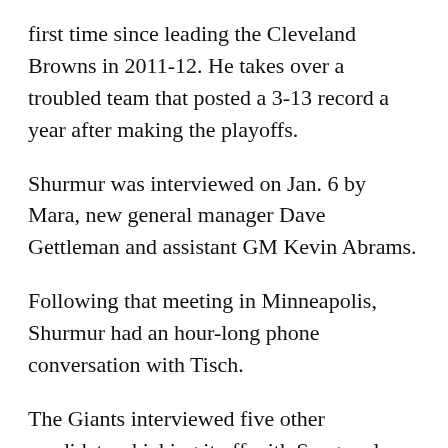first time since leading the Cleveland Browns in 2011-12. He takes over a troubled team that posted a 3-13 record a year after making the playoffs.
Shurmur was interviewed on Jan. 6 by Mara, new general manager Dave Gettleman and assistant GM Kevin Abrams.
Following that meeting in Minneapolis, Shurmur had an hour-long phone conversation with Tisch.
The Giants interviewed five other candidates, kicking it off with Spagnuolo three days after the season ended.
New York also spoke with New England coordinators Josh McDaniels and Matt Patricia, Carolina defensive coordinator Steve Wilks and on the final D...